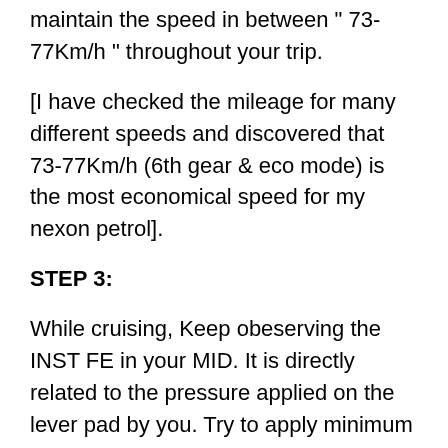After reaching 75Km/h, turn the ECO mode on and maintain the speed in between " 73-77Km/h " throughout your trip.
[I have checked the mileage for many different speeds and discovered that 73-77Km/h (6th gear & eco mode) is the most economical speed for my nexon petrol].
STEP 3:
While cruising, Keep obeserving the INST FE in your MID. It is directly related to the pressure applied on the lever pad by you. Try to apply minimum possible pressure to maintain the above speed. (Lesser the pressure-Higher the INST FE-Higher the Mileage.) By practising, I'm able to maintain the INST FE to 9-10 points (Half+2~3 points), which is maximum possible